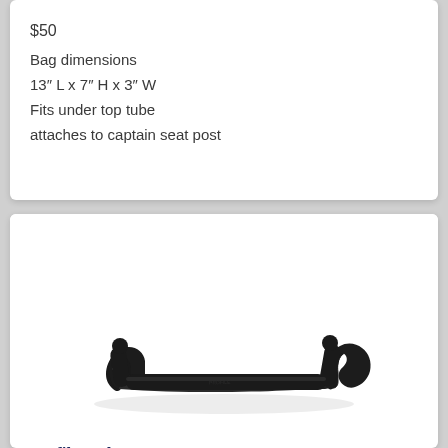$50
Bag dimensions
13" L x 7" H x 3" W
Fits under top tube
attaches to captain seat post
[Figure (photo): Photo of a black Profile Stoker Bar #26 bicycle handlebar component with curved ends, shaped like a wide U with upturned tips, on a white background.]
Profile Stoker Bar #26